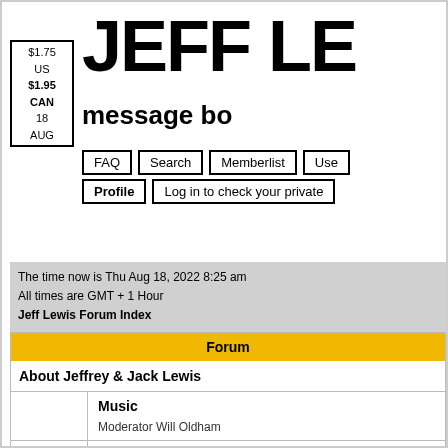[Figure (other): Price box showing $1.75 US $1.95 CAN 18 AUG]
JEFF LE
message bo
FAQ  Search  Memberlist  Use  Profile  Log in to check your private
The time now is Thu Aug 18, 2022 8:25 am
All times are GMT + 1 Hour
Jeff Lewis Forum Index
| Forum |
| --- |
| About Jeffrey & Jack Lewis |
| Music
Moderator Will Oldham |
| Live
Moderator Will Oldham |